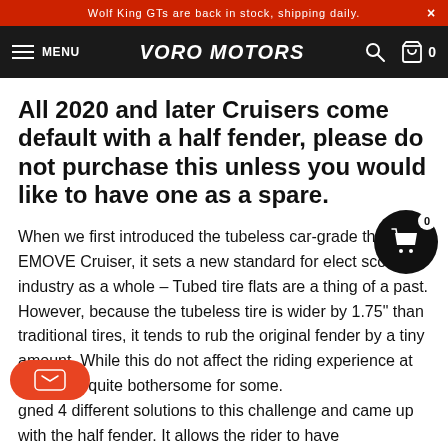Wolf King GTs are back in stock, shipping daily.
[Figure (screenshot): Voro Motors navigation bar with hamburger menu, VORO MOTORS logo, search icon, and cart icon showing 0 items]
All 2020 and later Cruisers come default with a half fender, please do not purchase this unless you would like to have one as a spare.
When we first introduced the tubeless car-grade the EMOVE Cruiser, it sets a new standard for elect scooter industry as a whole - Tubed tire flats are a thing of a past. However, because the tubeless tire is wider by 1.75" than traditional tires, it tends to rub the original fender by a tiny amount. While this do not affect the riding experience at all, it was quite bothersome for some.
gned 4 different solutions to this challenge and came up with the half fender. It allows the rider to have